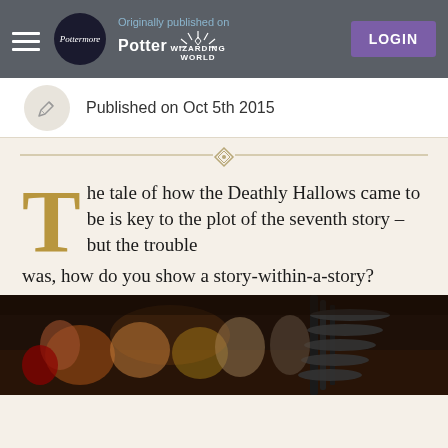Originally published on PotterWIZARDING WORLD | LOGIN
Published on Oct 5th 2015
The tale of how the Deathly Hallows came to be is key to the plot of the seventh story – but the trouble was, how do you show a story-within-a-story?
[Figure (illustration): Fantasy illustration of figures in a cluttered, dimly lit room with a spiral staircase]